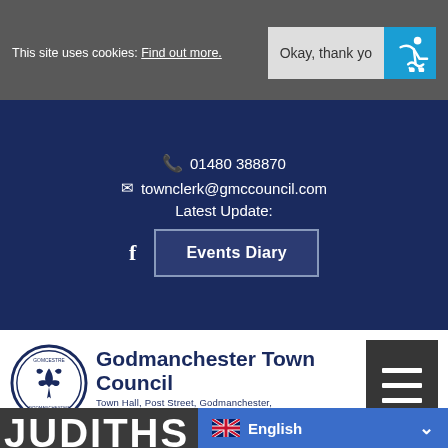This site uses cookies. Find out more.
Okay, thank yo
01480 388870
townclerk@gmccouncil.com
Latest Update:
Events Diary
[Figure (logo): Godmanchester Town Council circular crest logo with fleur-de-lis]
Godmanchester Town Council
Town Hall, Post Street, Godmanchester, Cambridgeshire. PE29 2NB
JUDITHS FIELD H...
English